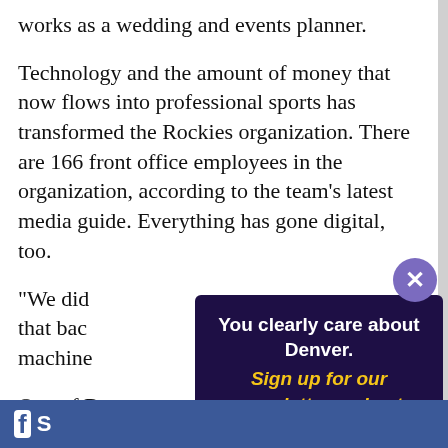works as a wedding and events planner.
Technology and the amount of money that now flows into professional sports has transformed the Rockies organization. There are 166 front office employees in the organization, according to the team's latest media guide. Everything has gone digital, too.
"We did [text obscured by modal] that bac[text obscured] machine[text obscured]
One of B[text obscured] naming[text obscured] landline[text obscured] mail wit[text obscured] Rockies[text obscured]
[Figure (other): Newsletter signup modal overlay with dark purple background. Title: 'You clearly care about Denver.' Subtitle in yellow italic: 'Sign up for our newsletter and get everything you need to know about the city you love.' Email input field with placeholder 'Enter your email address here...' and a yellow 'Sign me up!' button. Close button (X) in top right corner.]
Facebook share bar at bottom